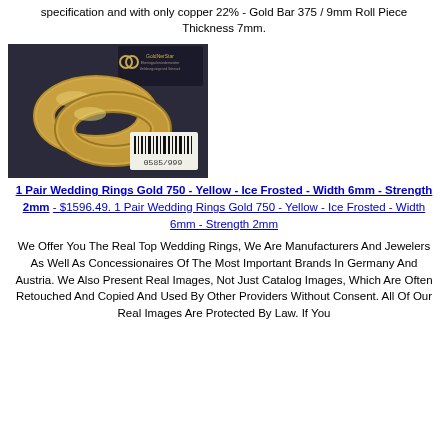specification and with only copper 22% - Gold Bar 375 / 9mm Roll Piece Thickness 7mm.
[Figure (photo): Two gold wedding rings with a barcode tag reading 0585/999, displayed on a dark background with a logo card behind them.]
1 Pair Wedding Rings Gold 750 - Yellow - Ice Frosted - Width 6mm - Strength 2mm - $1596.49. 1 Pair Wedding Rings Gold 750 - Yellow - Ice Frosted - Width 6mm - Strength 2mm
We Offer You The Real Top Wedding Rings, We Are Manufacturers And Jewelers As Well As Concessionaires Of The Most Important Brands In Germany And Austria. We Also Present Real Images, Not Just Catalog Images, Which Are Often Retouched And Copied And Used By Other Providers Without Consent. All Of Our Real Images Are Protected By Law. If You